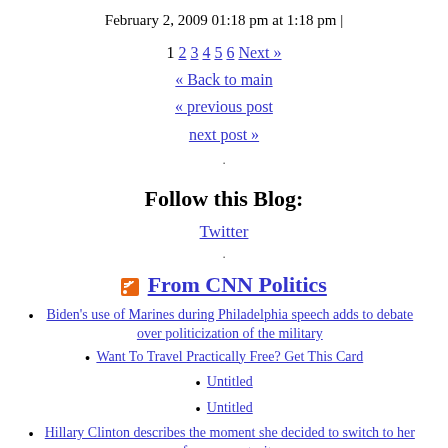February 2, 2009 01:18 pm at 1:18 pm |
1 2 3 4 5 6 Next » « Back to main « previous post next post »
Follow this Blog:
Twitter
From CNN Politics
Biden's use of Marines during Philadelphia speech adds to debate over politicization of the military
Want To Travel Practically Free? Get This Card
Untitled
Untitled
Hillary Clinton describes the moment she decided to switch to her famous pantsuits
Untitled